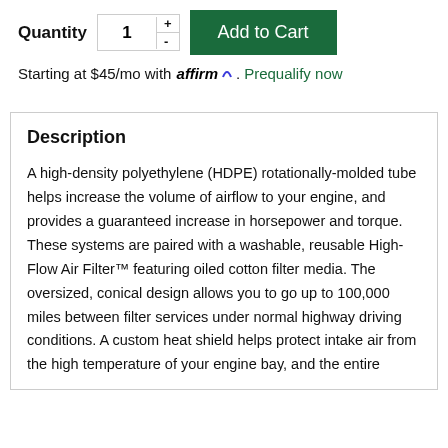Quantity 1 + - Add to Cart
Starting at $45/mo with affirm. Prequalify now
Description
A high-density polyethylene (HDPE) rotationally-molded tube helps increase the volume of airflow to your engine, and provides a guaranteed increase in horsepower and torque. These systems are paired with a washable, reusable High-Flow Air Filter™ featuring oiled cotton filter media. The oversized, conical design allows you to go up to 100,000 miles between filter services under normal highway driving conditions. A custom heat shield helps protect intake air from the high temperature of your engine bay, and the entire